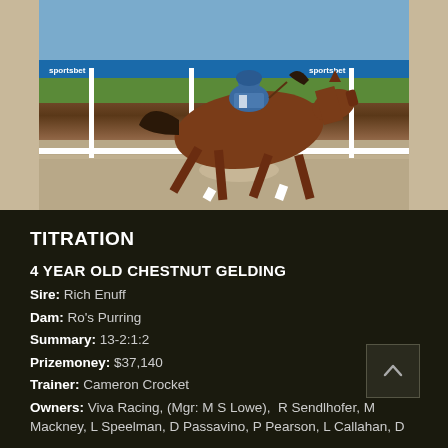[Figure (photo): A chestnut gelding racehorse in full gallop on a race track, with a jockey in blue/white silks. Sportsbet branding visible on the barrier rail in the background. The horse has white markings on its lower legs.]
TITRATION
4 YEAR OLD CHESTNUT GELDING
Sire: Rich Enuff
Dam: Ro's Purring
Summary: 13-2:1:2
Prizemoney: $37,140
Trainer: Cameron Crocket
Owners: Viva Racing, (Mgr: M S Lowe),  R Sendlhofer, M Mackney, L Speelman, D Passavino, P Pearson, L Callahan, D...